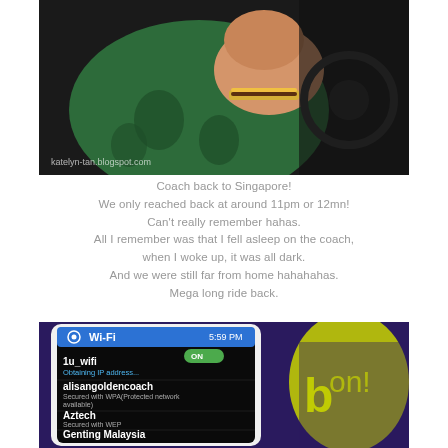[Figure (photo): Person sleeping in a coach/bus seat, wearing a green shirt and gold bracelet, resting their head on their hand. Watermark reads katelyn-tan.blogspot.com]
Coach back to Singapore!
We only reached back at around 11pm or 12mn!
Can't really remember hahas.
All I remember was that I fell asleep on the coach,
when I woke up, it was all dark.
And we were still far from home hahahahas.
Mega long ride back.
[Figure (photo): Smartphone screen showing Wi-Fi settings at 5:59 PM. Networks listed: 1u_wifi (Obtaining IP address...), alisangoldencoach (Secured with WPA Protected network available), Aztech (Secured with WEP), Genting Malaysia (Secured with WPA/WPA2), HH (Secured with WEP). Background shows colorful graphic design.]